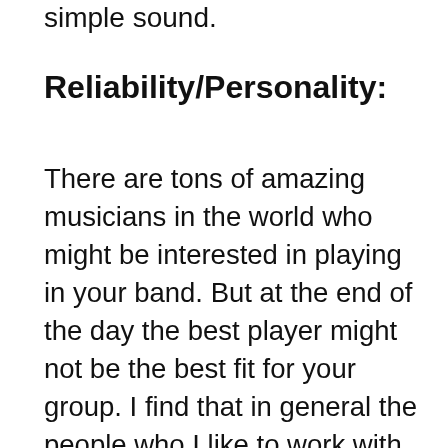simple sound.
Reliability/Personality:
There are tons of amazing musicians in the world who might be interested in playing in your band. But at the end of the day the best player might not be the best fit for your group. I find that in general the people who I like to work with always show up on time and have positive/respectful attitudes – they aren't necessarily the best players around. It would be great if all the best players were super professional and